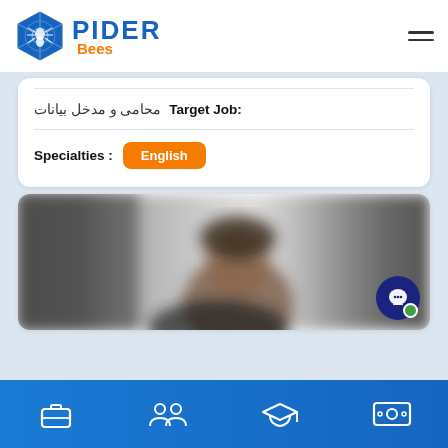[Figure (logo): SpiderBees logo with blue hexagonal spider icon and blue PIDER text with orange Bees text]
Target Job: محامى و مدخل بيانات
Specialties : English
[Figure (photo): Blurred profile photo of a person]
Bottom navigation bar with briefcase, people, graduation cap, and money icons